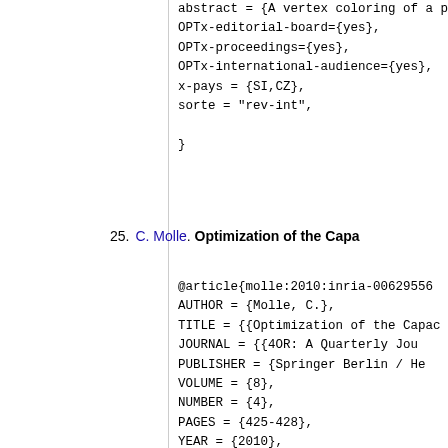abstract = {A vertex coloring of a pla
OPTx-editorial-board={yes},
OPTx-proceedings={yes},
OPTx-international-audience={yes},
x-pays = {SI,CZ},
sorte = "rev-int",

}
25. C. Molle. Optimization of the Capa...
@article{molle:2010:inria-00629556
AUTHOR = {Molle, C.},
TITLE = {{Optimization of the Capac
JOURNAL = {{4OR: A Quarterly Jou
PUBLISHER = {Springer Berlin / He
VOLUME = {8},
NUMBER = {4},
PAGES = {425-428},
YEAR = {2010},
MONTH = Dec,
DOI = {10.1007/s10288-010-0132-x
URL = {http://hal.inria.fr/inria-006295
}